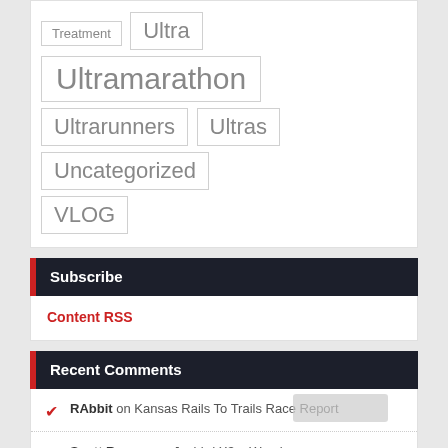Treatment
Ultra
Ultramarathon
Ultrarunners
Ultras
Uncategorized
VLOG
Subscribe
Content RSS
Recent Comments
RAbbit on Kansas Rails To Trails Race Report
Scott Runner on Jaybird X3 – Warning
Wouter on Jaybird X3 – Warning
TREX on Cumulative Stress
RAbbit on Cumulative Stress